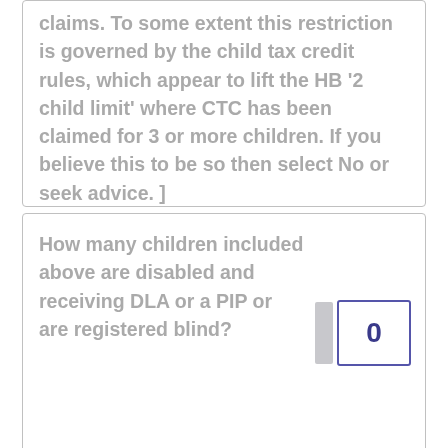claims. To some extent this restriction is governed by the child tax credit rules, which appear to lift the HB '2 child limit' where CTC has been claimed for 3 or more children. If you believe this to be so then select No or seek advice. ]
How many children included above are disabled and receiving DLA or a PIP or are registered blind?
How many of those children are getting DLA (highest care rate) or the enhanced rate daily living component of a PIP ?